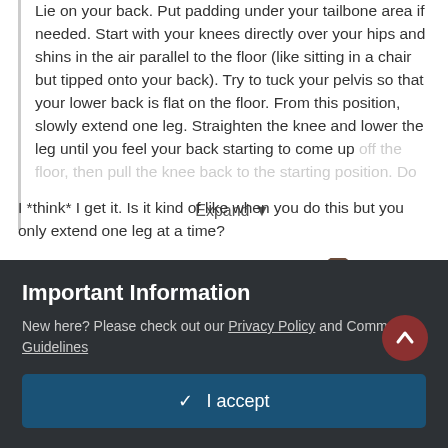Lie on your back. Put padding under your tailbone area if needed. Start with your knees directly over your hips and shins in the air parallel to the floor (like sitting in a chair but tipped onto your back). Try to tuck your pelvis so that your lower back is flat on the floor. From this position, slowly extend one leg. Straighten the knee and lower the leg until you feel your back starting to come up off the floor, then pull the knee back to the starting position. Do...
Expand
I *think* I get it. Is it kind of like when you do this but you only extend one leg at a time?
[Figure (photo): Partial image of boots/feet visible at bottom of content area]
Important Information
New here? Please check out our Privacy Policy and Community Guidelines
✓ I accept